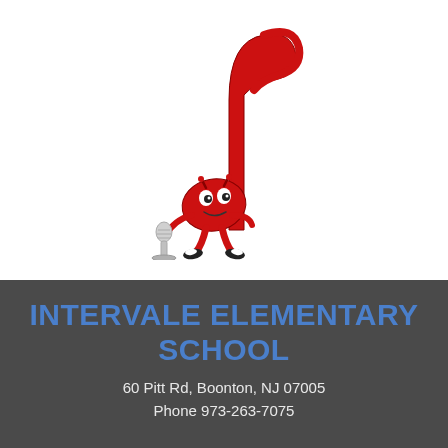[Figure (illustration): Cartoon mascot: a red musical note character with eyes, arms and legs, holding a microphone on a stand]
INTERVALE ELEMENTARY SCHOOL
60 Pitt Rd, Boonton, NJ 07005
Phone 973-263-7075